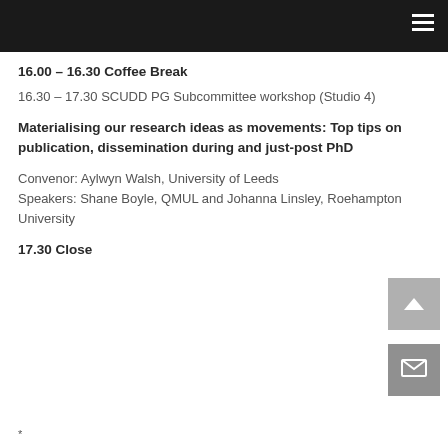16.00 – 16.30 Coffee Break
16.30 – 17.30 SCUDD PG Subcommittee workshop (Studio 4)
Materialising our research ideas as movements: Top tips on publication, dissemination during and just-post PhD
Convenor: Aylwyn Walsh, University of Leeds
Speakers: Shane Boyle, QMUL and Johanna Linsley, Roehampton University
17.30 Close
*